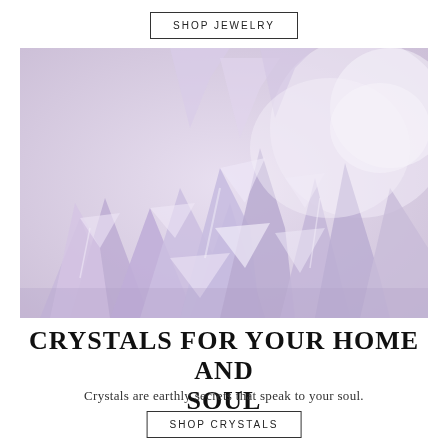SHOP JEWELRY
[Figure (photo): Close-up photo of rough amethyst crystals with light purple/lavender color on a pale background]
CRYSTALS FOR YOUR HOME AND SOUL
Crystals are earthly secrets that speak to your soul.
SHOP CRYSTALS